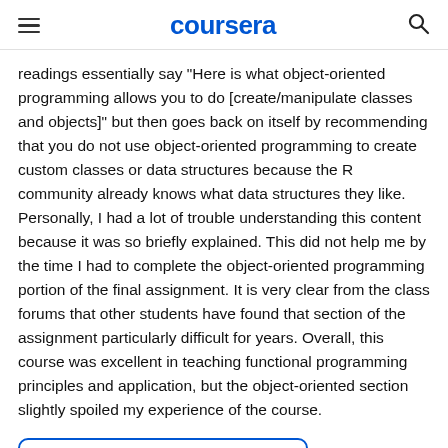coursera
readings essentially say "Here is what object-oriented programming allows you to do [create/manipulate classes and objects]" but then goes back on itself by recommending that you do not use object-oriented programming to create custom classes or data structures because the R community already knows what data structures they like. Personally, I had a lot of trouble understanding this content because it was so briefly explained. This did not help me by the time I had to complete the object-oriented programming portion of the final assignment. It is very clear from the class forums that other students have found that section of the assignment particularly difficult for years. Overall, this course was excellent in teaching functional programming principles and application, but the object-oriented section slightly spoiled my experience of the course.
👍 Помогло: (3)